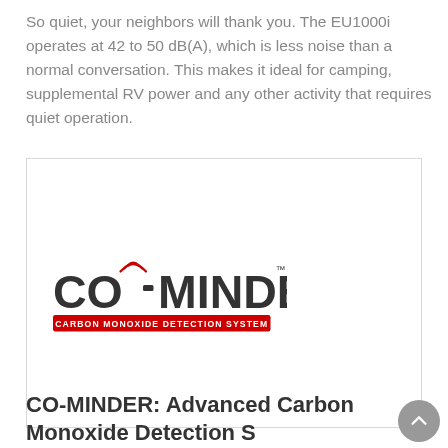So quiet, your neighbors will thank you. The EU1000i operates at 42 to 50 dB(A), which is less noise than a normal conversation. This makes it ideal for camping, supplemental RV power and any other activity that requires quiet operation.
[Figure (logo): CO-MINDER logo: bold CO-MINDER text with signal waves over the O, and a red banner reading CARBON MONOXIDE DETECTION SYSTEM]
CO-MINDER: Advanced Carbon Monoxide Detection System